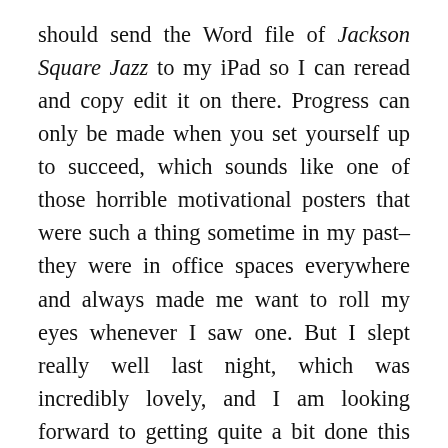should send the Word file of Jackson Square Jazz to my iPad so I can reread and copy edit it on there. Progress can only be made when you set yourself up to succeed, which sounds like one of those horrible motivational posters that were such a thing sometime in my past–they were in office spaces everywhere and always made me want to roll my eyes whenever I saw one. But I slept really well last night, which was incredibly lovely, and I am looking forward to getting quite a bit done this weekend. I already feel rested, which is really nice, and the Lost Apartment isn't the usual disaster area it